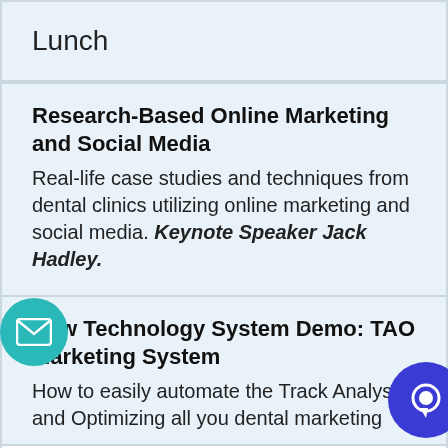Lunch
Research-Based Online Marketing and Social Media
Real-life case studies and techniques from dental clinics utilizing online marketing and social media. Keynote Speaker Jack Hadley.
New Technology System Demo: TAO Marketing System
How to easily automate the Track Analysing and Optimizing all you dental marketing